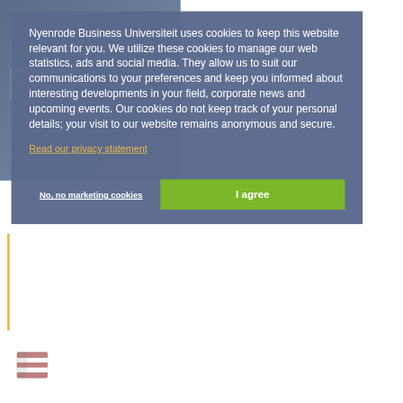Nyenrode Business Universiteit uses cookies to keep this website relevant for you. We utilize these cookies to manage our web statistics, ads and social media. They allow us to suit our communications to your preferences and keep you informed about interesting developments in your field, corporate news and upcoming events. Our cookies do not keep track of your personal details; your visit to our website remains anonymous and secure.
Read our privacy statement
No, no marketing cookies
I agree
[Figure (logo): Nyenrode Business Universiteit logo with shield icon and text]